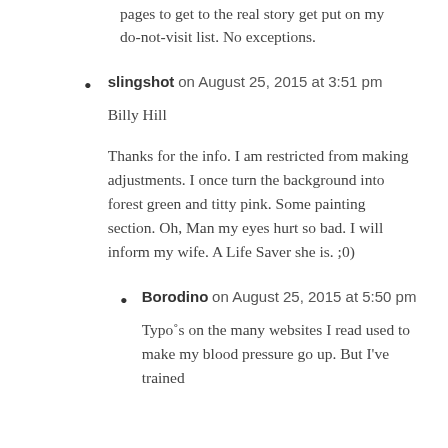pages to get to the real story get put on my do-not-visit list. No exceptions.
slingshot on August 25, 2015 at 3:51 pm

Billy Hill

Thanks for the info. I am restricted from making adjustments. I once turn the background into forest green and titty pink. Some painting section. Oh, Man my eyes hurt so bad. I will inform my wife. A Life Saver she is. ;0)
Borodino on August 25, 2015 at 5:50 pm

Typoʼs on the many websites I read used to make my blood pressure go up. But I’ve trained